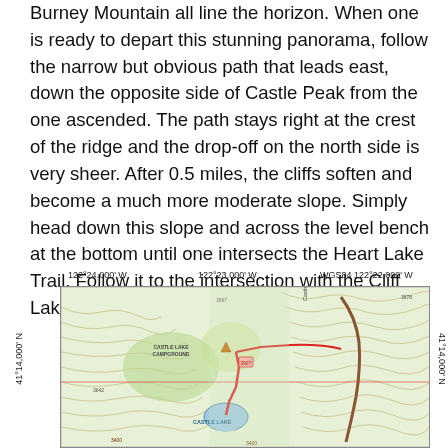Burney Mountain all line the horizon. When one is ready to depart this stunning panorama, follow the narrow but obvious path that leads east, down the opposite side of Castle Peak from the one ascended. The path stays right at the crest of the ridge and the drop-off on the north side is very sheer. After 0.5 miles, the cliffs soften and become a much more moderate slope. Simply head down this slope and across the level bench at the bottom until one intersects the Heart Lake Trail. Follow it to the intersection with the Cliff Lake Trail and then descend to the trailhead.
[Figure (map): Topographic map showing Castle Lake area with contour lines, Castle Lake Campground, Castle Lake, trails marked in red, coordinates: 122°24.000' W to 122°22.000' W, 41°14,000' N, WGS84 datum]